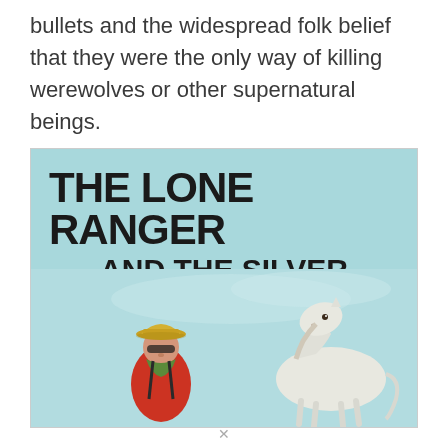bullets and the widespread folk belief that they were the only way of killing werewolves or other supernatural beings.
[Figure (illustration): Book cover of 'The Lone Ranger and the Silver Bullet' showing a cowboy in a red shirt and yellow hat with a green bandana, alongside a white horse, on a light blue background.]